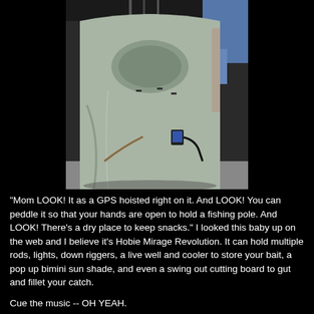[Figure (photo): A close-up photograph of the front bow of a light gray/green Hobie Mirage Revolution kayak resting on a surface. A GPS device is mounted on the bow. Fishing rod holders and a paddle are visible in the background. A person's legs in blue pants are partially visible on the right side.]
"Mom LOOK! It as a GPS hoisted right on it. And LOOK! You can peddle it so that your hands are open to hold a fishing pole. And LOOK! There's a dry place to keep snacks." I looked this baby up on the web and I believe it's Hobie Mirage Revolution. It can hold multiple rods, lights, down riggers, a live well and cooler to store your bait, a pop up bimini sun shade, and even a swing out cutting board to gut and fillet your catch.

Cue the music -- OH YEAH.